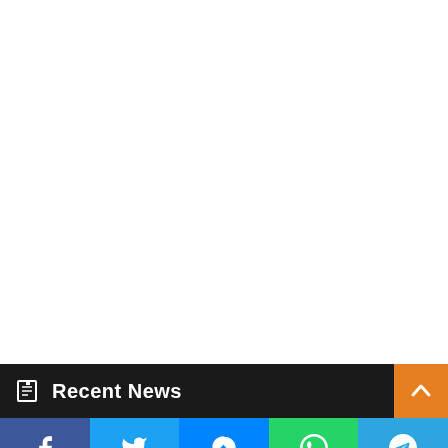Recent News
Facebook | Twitter | Messenger | WhatsApp | Telegram